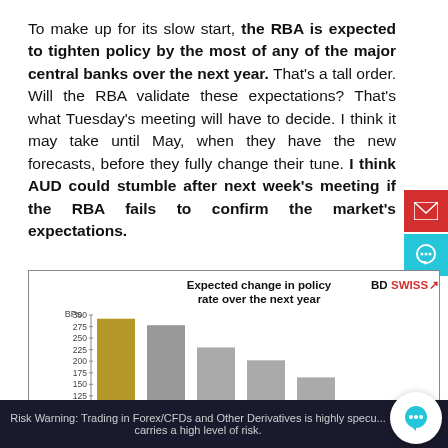To make up for its slow start, the RBA is expected to tighten policy by the most of any of the major central banks over the next year. That's a tall order. Will the RBA validate these expectations? That's what Tuesday's meeting will have to decide. I think it may take until May, when they have the new forecasts, before they fully change their tune. I think AUD could stumble after next week's meeting if the RBA fails to confirm the market's expectations.
[Figure (bar-chart): Expected change in policy rate over the next year]
Risk Warning: Trading in Forex/CFDs and Other Derivatives is highly specu... carries a high level of risk.